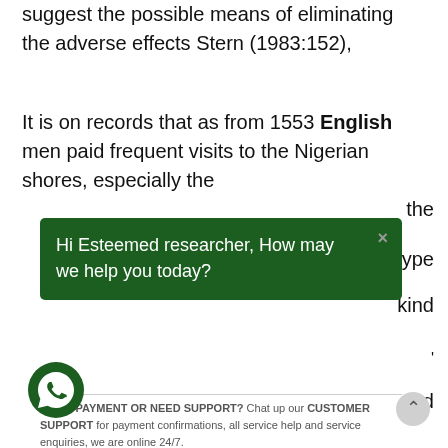suggest the possible means of eliminating the adverse effects Stern (1983:152),
It is on records that as from 1553 English men paid frequent visits to the Nigerian shores, especially the [...]type [...] kind [...] sed [...] e of the most far-reaching linguistic phenomena of our [...] Evidence of this worldwide phenomenon of [...] age contact, variation and change can be seen through such designations as world Englishes, new
[Figure (screenshot): A dark green popup chat widget overlay reading 'Hi Esteemed researcher, How may we help you today?' with a close (x) button in the top right corner.]
MADE PAYMENT OR NEED SUPPORT? Chat up our CUSTOMER SUPPORT for payment confirmations, all service help and service enquiries, we are online 24/7.
[Figure (infographic): WhatsApp customer care card showing a green WhatsApp logo icon, 'Elite project customer care' label, and agent name 'Miracle'.]
[Figure (infographic): A floating green WhatsApp button icon in the bottom left corner of the page.]